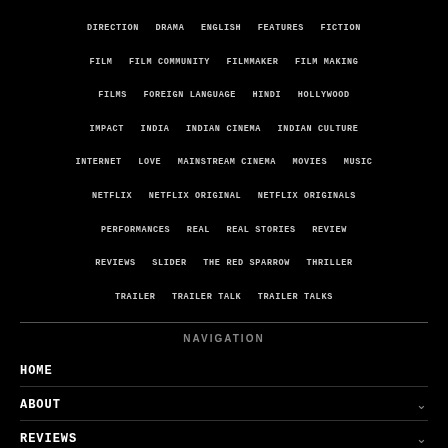DIRECTION  DRAMA  ENGLISH  FEATURES  FICTION  FILM  FILM COMMUNITY  FILMMAKER  FILM MAKING  FILMS  FOREIGN LANGUAGE  HINDI  HOLLYWOOD  IMPACT  INDIA  INDIAN CINEMA  INDIAN CULTURE  INTERNET  LOVE  MAINSTREAM CINEMA  MOVIES  MUSIC  NETFLIX  NETFLIX ORIGINAL  NETFLIX ORIGINALS  PERFORMANCES  REAL  REAL STORIES  REVIEW  REVIEWS  SLIDER  THE RED SPARROW  THRILLER  TRAILER  TRAILER TALK  TRAILER TALKS
NAVIGATION
HOME
ABOUT
REVIEWS